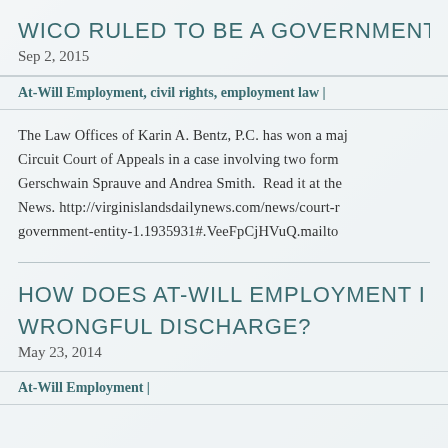WICO RULED TO BE A GOVERNMENT
Sep 2, 2015
At-Will Employment, civil rights, employment law |
The Law Offices of Karin A. Bentz, P.C. has won a major victory in the Third Circuit Court of Appeals in a case involving two former WICO employees, Gerschwain Sprauve and Andrea Smith.  Read it at the Virgin Islands Daily News. http://virginislandsdailynews.com/news/court-ruled-wico-is-a-government-entity-1.1935931#.VeeFpCjHVuQ.mailto
HOW DOES AT-WILL EMPLOYMENT IMPACT WRONGFUL DISCHARGE?
May 23, 2014
At-Will Employment |